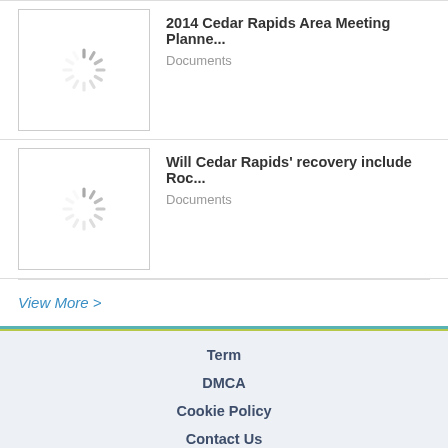[Figure (illustration): Loading spinner icon (gray radial dashes)]
2014 Cedar Rapids Area Meeting Planne...
Documents
[Figure (illustration): Loading spinner icon (gray radial dashes)]
Will Cedar Rapids' recovery include Roc...
Documents
View More >
Term
DMCA
Cookie Policy
Contact Us
Copyright © 2018 FDOCUMENTS